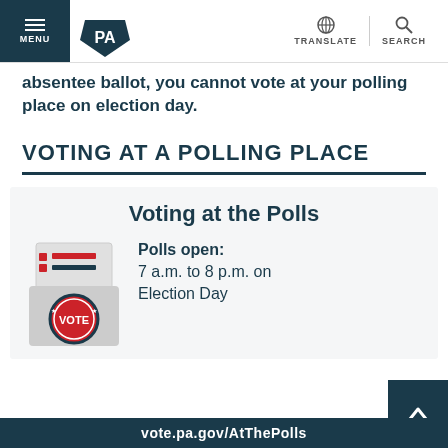MENU | PA (logo) | TRANSLATE | SEARCH
absentee ballot, you cannot vote at your polling place on election day.
VOTING AT A POLLING PLACE
Voting at the Polls
[Figure (illustration): Illustration of a ballot box with voting card on top and a 'VOTE' stamp/seal at the bottom]
Polls open: 7 a.m. to 8 p.m. on Election Day
vote.pa.gov/AtThePolls